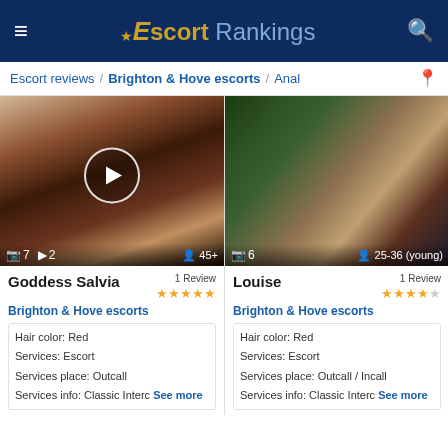Escort Rankings
Escort reviews / Brighton & Hove escorts / Anal
[Figure (photo): Photo of Goddess Salvia escort with camera/video overlay icons. Shows 7 photos, 2 videos, age 45+]
[Figure (photo): Photo of Louise escort. Shows 6 photos, age 25-36 (young)]
Goddess Salvia — 1 Review ★★★★★
Brighton & Hove escorts
Hair color: Red
Services: Escort
Services place: Outcall
Services info: Classic Interc See more
Louise — 1 Review ★★★★☆
Brighton & Hove escorts
Hair color: Red
Services: Escort
Services place: Outcall / Incall
Services info: Classic Interc See more